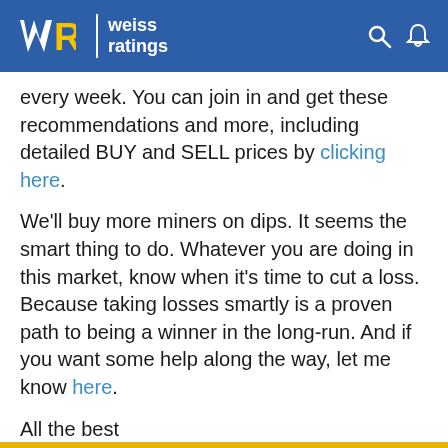Weiss Ratings
every week. You can join in and get these recommendations and more, including detailed BUY and SELL prices by clicking here.
We'll buy more miners on dips. It seems the smart thing to do. Whatever you are doing in this market, know when it's time to cut a loss. Because taking losses smartly is a proven path to being a winner in the long-run. And if you want some help along the way, let me know here.
All the best
Sean